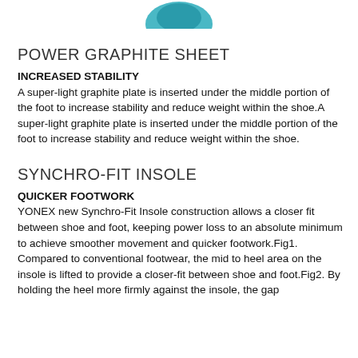[Figure (illustration): Partial teal/blue logo or shoe image at the top of the page, cropped]
POWER GRAPHITE SHEET
INCREASED STABILITY
A super-light graphite plate is inserted under the middle portion of the foot to increase stability and reduce weight within the shoe.A super-light graphite plate is inserted under the middle portion of the foot to increase stability and reduce weight within the shoe.
SYNCHRO-FIT INSOLE
QUICKER FOOTWORK
YONEX new Synchro-Fit Insole construction allows a closer fit between shoe and foot, keeping power loss to an absolute minimum to achieve smoother movement and quicker footwork.Fig1. Compared to conventional footwear, the mid to heel area on the insole is lifted to provide a closer-fit between shoe and foot.Fig2. By holding the heel more firmly against the insole, the gap